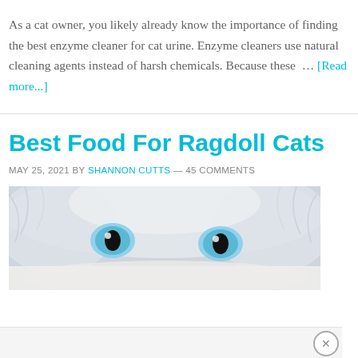As a cat owner, you likely already know the importance of finding the best enzyme cleaner for cat urine. Enzyme cleaners use natural cleaning agents instead of harsh chemicals. Because these … [Read more...]
Best Food For Ragdoll Cats
MAY 25, 2021 BY SHANNON CUTTS — 45 COMMENTS
[Figure (photo): Close-up photo of a Ragdoll cat's face showing its blue eyes and fluffy white/grey fur, cropped to show only the eyes and top of the head.]